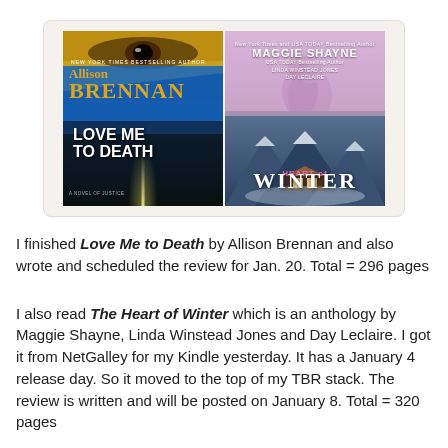[Figure (illustration): Two book covers side by side on a beige background. Left: 'Love Me to Death' by Allison Brennan, a thriller with a golden-toned woman's eye at top and a dark street scene below. Right: 'Heart of Winter' anthology by Maggie Shayne, Linda Winstead Jones, and Day Leclaire, featuring a romantic couple and a winter mountain scene with a chalet.]
I finished Love Me to Death by Allison Brennan and also wrote and scheduled the review for Jan. 20. Total = 296 pages
I also read The Heart of Winter which is an anthology by Maggie Shayne, Linda Winstead Jones and Day Leclaire. I got it from NetGalley for my Kindle yesterday. It has a January 4 release day. So it moved to the top of my TBR stack. The review is written and will be posted on January 8. Total = 320 pages